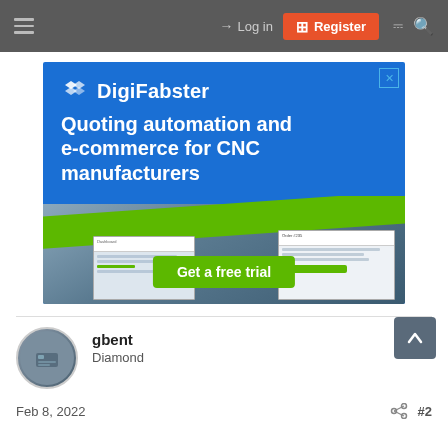Log in | Register
[Figure (screenshot): DigiFabster advertisement banner - Quoting automation and e-commerce for CNC manufacturers - Get a free trial]
gbent
Diamond
Feb 8, 2022
#2